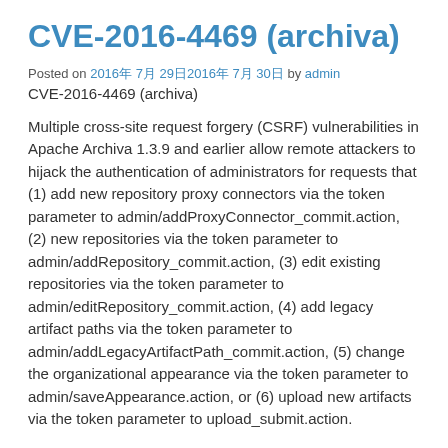CVE-2016-4469 (archiva)
Posted on 2016年 7月 29日2016年 7月 30日 by admin
CVE-2016-4469 (archiva)
Multiple cross-site request forgery (CSRF) vulnerabilities in Apache Archiva 1.3.9 and earlier allow remote attackers to hijack the authentication of administrators for requests that (1) add new repository proxy connectors via the token parameter to admin/addProxyConnector_commit.action, (2) new repositories via the token parameter to admin/addRepository_commit.action, (3) edit existing repositories via the token parameter to admin/editRepository_commit.action, (4) add legacy artifact paths via the token parameter to admin/addLegacyArtifactPath_commit.action, (5) change the organizational appearance via the token parameter to admin/saveAppearance.action, or (6) upload new artifacts via the token parameter to upload_submit.action.
Source: CVE-2016-4469 (archiva)